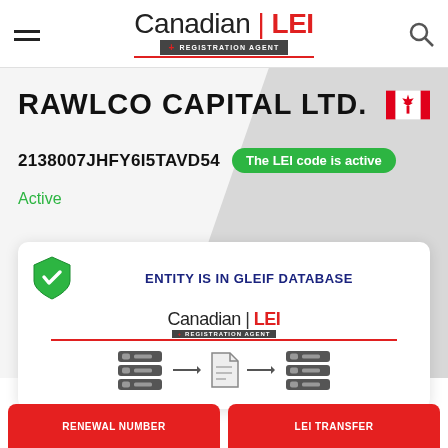[Figure (logo): Canadian LEI Registration Agent logo with hamburger menu and search icon in header]
RAWLCO CAPITAL LTD.
2138007JHFY6I5TAVD54
The LEI code is active
Active
[Figure (infographic): ENTITY IS IN GLEIF DATABASE card with Canadian LEI logo and data flow diagram showing server to document to server]
RENEWAL NUMBER
LEI TRANSFER